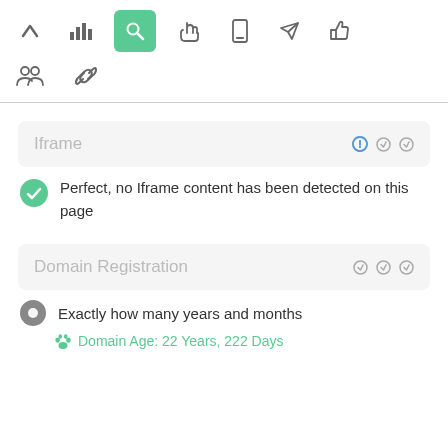[Figure (screenshot): Toolbar with navigation icons: up arrow, bar chart, search (active/green), hand pointer, mobile, send/rocket, thumbs up, then second row: group/people icon, chain/link icon]
Iframe
Perfect, no Iframe content has been detected on this page
Domain Registration
Exactly how many years and months
Domain Age: 22 Years, 222 Days